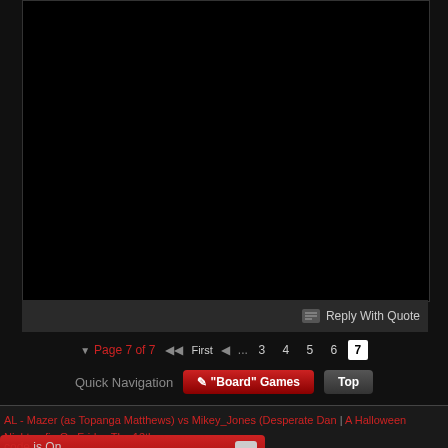[Figure (screenshot): Black content area of a forum post]
Reply With Quote
Page 7 of 7  First  ...  3  4  5  6  7
Quick Navigation   "Board" Games   Top
AL - Mazer (as Topanga Matthews) vs Mikey_Jones (Desperate Dan | A Halloween Nightmafia On Friday The 13th »
code is On